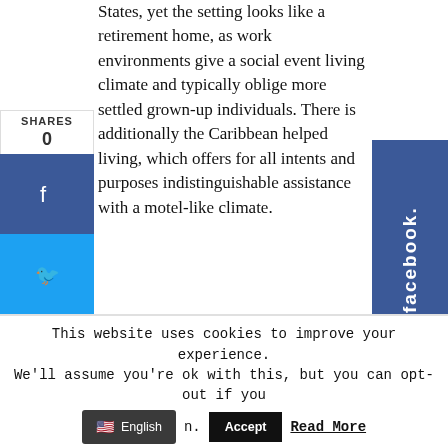States, yet the setting looks like a retirement home, as work environments give a social event living climate and typically oblige more settled grown-up individuals. There is additionally the Caribbean helped living, which offers for all intents and purposes indistinguishable assistance with a motel-like climate.
Some thought association :
[Figure (other): Broken image placeholder labeled 'Care Homes Doncaster']
This website uses cookies to improve your experience. We'll assume you're ok with this, but you can opt-out if you wish.